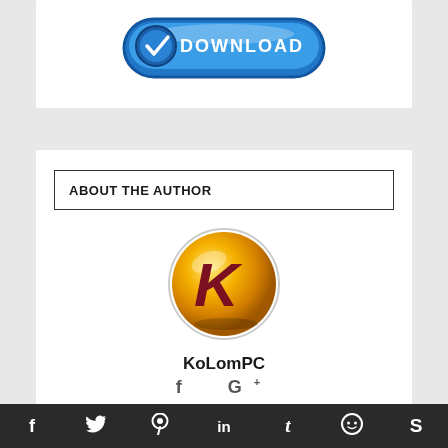[Figure (logo): Blue download button logo with checkmark and 'DOWNLOAD' text]
ABOUT THE AUTHOR
[Figure (logo): KoLomPC circular golden ball logo with dark red K letter mark]
KoLomPC
f G+
Admin, founder and proud uploader of KoLomPC. Get all the latest software. Clean and free as
f  twitter  pinterest  in  t  reddit  s